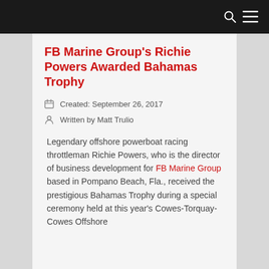FB Marine Group's Richie Powers Awarded Bahamas Trophy
Created: September 26, 2017
Written by Matt Trulio
Legendary offshore powerboat racing throttleman Richie Powers, who is the director of business development for FB Marine Group based in Pompano Beach, Fla., received the prestigious Bahamas Trophy during a special ceremony held at this year's Cowes-Torquay-Cowes Offshore